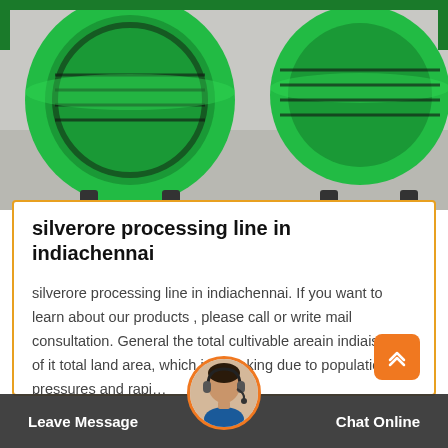[Figure (photo): Photo of green circular industrial equipment (likely a rotary screen or drum) with metal frame, sitting on a grey concrete floor]
silverore processing line in indiachennai
silverore processing line in indiachennai. If you want to learn about our products , please call or write mail consultation. General the total cultivable areain indiais ,, km of it total land area, which is shrinking due to population pressures and rapi…
Get Price
Leave Message   Chat Online